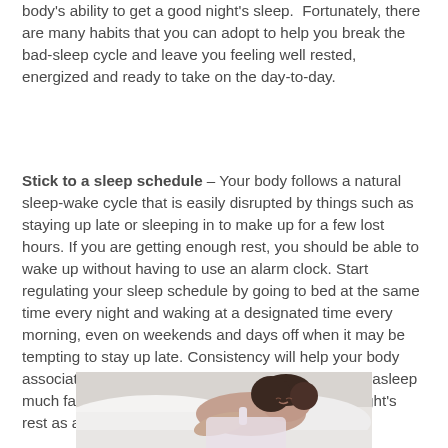body's ability to get a good night's sleep.  Fortunately, there are many habits that you can adopt to help you break the bad-sleep cycle and leave you feeling well rested, energized and ready to take on the day-to-day.
Stick to a sleep schedule – Your body follows a natural sleep-wake cycle that is easily disrupted by things such as staying up late or sleeping in to make up for a few lost hours. If you are getting enough rest, you should be able to wake up without having to use an alarm clock. Start regulating your sleep schedule by going to bed at the same time every night and waking at a designated time every morning, even on weekends and days off when it may be tempting to stay up late. Consistency will help your body associate a certain time with sleep and help you fall asleep much faster, so you'll get a much more satisfying night's rest as a result.
[Figure (photo): Woman lying in bed on white pillows, smiling with eyes closed, appearing well-rested and relaxed]